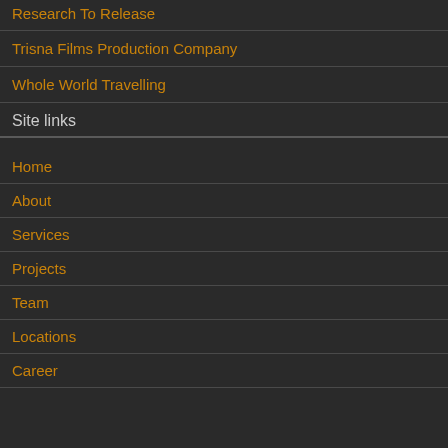Research To Release
Trisna Films Production Company
Whole World Travelling
Site links
Home
About
Services
Projects
Team
Locations
Career